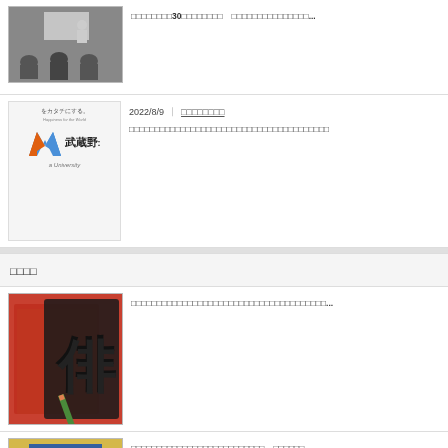[Figure (photo): Classroom scene with instructor at front, attendees seated]
□□□□□□□□30□□□□□□□□　□□□□□□□□□□□□□□□...
[Figure (logo): Musashino University logo with tagline 'をカタチにする。' and 'a University']
2022/8/9　｜　□□□□□□□□
□□□□□□□□□□□□□□□□□□□□□□□□□□□□□□□□□□□□□□□
□□□□
[Figure (photo): Red folder with 俳 character and pencil - haiku related image]
□□□□□□□□□□□□□□□□□□□□□□□□□□□□□□□□□□□...
[Figure (photo): Group photo of formally dressed people in front of university banner]
□□□□□□□□□□□□□□□□□□□□□□□□□□　□□□□□□...